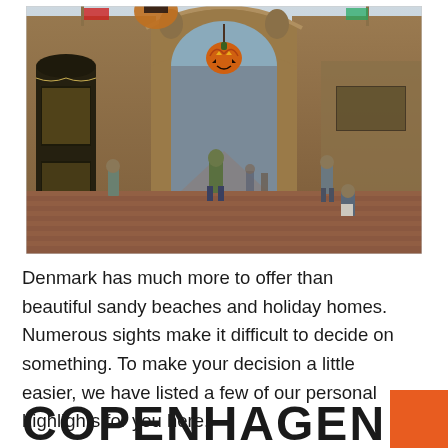[Figure (photo): Photo of Tivoli Gardens entrance arch decorated with a large Halloween pumpkin hanging overhead. Ornate brick arch in the center, a dark cylindrical tower/kiosk on the left, visitors walking through the courtyard. Autumn trees visible in the background through the arch.]
Denmark has much more to offer than beautiful sandy beaches and holiday homes. Numerous sights make it difficult to decide on something. To make your decision a little easier, we have listed a few of our personal highlights for you here.
COPENHAGEN